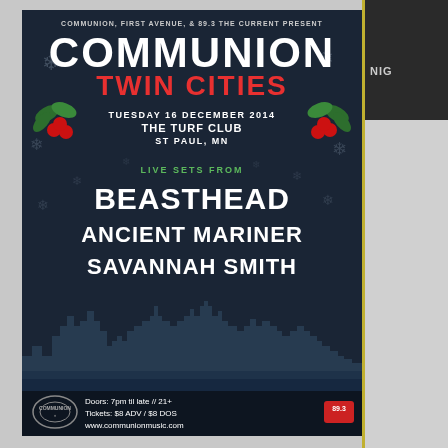COMMUNION, FIRST AVENUE, & 89.3 THE CURRENT PRESENT
COMMUNION
TWIN CITIES
TUESDAY 16 DECEMBER 2014
THE TURF CLUB
ST PAUL, MN
LIVE SETS FROM
BEASTHEAD
ANCIENT MARINER
SAVANNAH SMITH
Doors: 7pm til late // 21+
Tickets: $8 ADV / $8 DOS
www.communionmusic.com